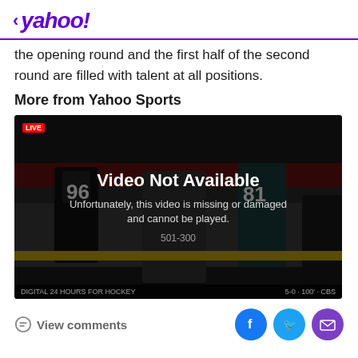< yahoo!
the opening round and the first half of the second round are filled with talent at all positions.
More from Yahoo Sports
[Figure (screenshot): Video player showing 'Video Not Available' error overlay over a hockey game. Text reads: 'Video Not Available. Unfortunately, this video is missing or damaged and cannot be played. 501-300'. Live badge and scoreboard visible.]
View comments